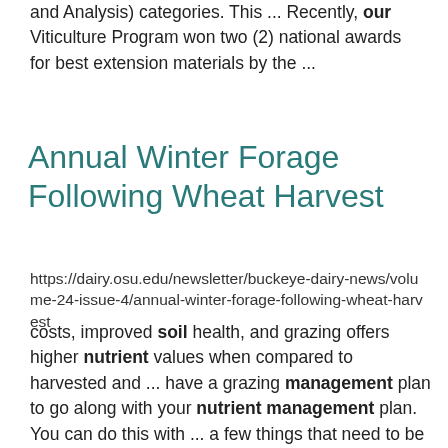and Analysis) categories. This ... Recently, our Viticulture Program won two (2) national awards for best extension materials by the ...
Annual Winter Forage Following Wheat Harvest
https://dairy.osu.edu/newsletter/buckeye-dairy-news/volume-24-issue-4/annual-winter-forage-following-wheat-harvest
costs, improved soil health, and grazing offers higher nutrient values when compared to harvested and ... have a grazing management plan to go along with your nutrient management plan. You can do this with ... a few things that need to be